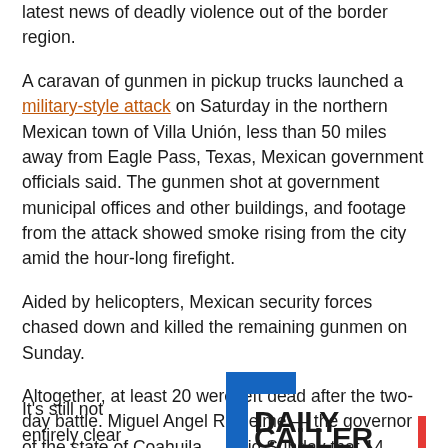latest news of deadly violence out of the border region.
A caravan of gunmen in pickup trucks launched a military-style attack on Saturday in the northern Mexican town of Villa Unión, less than 50 miles away from Eagle Pass, Texas, Mexican government officials said. The gunmen shot at government municipal offices and other buildings, and footage from the attack showed smoke rising from the city amid the hour-long firefight.
Aided by helicopters, Mexican security forces chased down and killed the remaining gunmen on Sunday.
Altogether, at least 20 were left dead after the two-day battle. Miguel Angel Riquelme — the governor of the state of Coahuila — said Sunday that 14 cartel gunmen, four police officers, and two civilians who were abducted by the gunmen were ultimately killed, according to the Associated Press.
It's still not entirely clear
[Figure (logo): Daily Caller logo — stylized blue bracket with 'DAILY CALLER' text in bold black with a red accent]